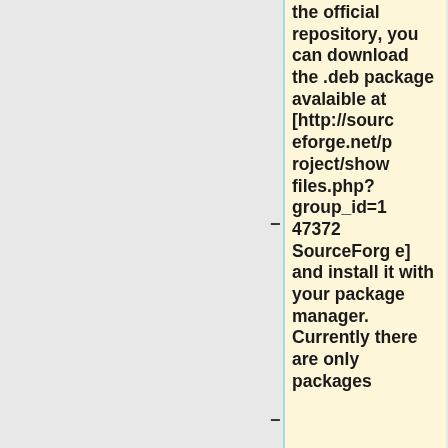the official repository, you can download the .deb package avalaible at [http://sourceforge.net/project/showfiles.php?group_id=147372 SourceForge] and install it with your package manager. Currently there are only packages